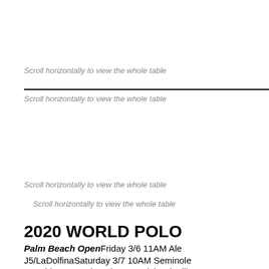Scroll horizontally to view the whole table
Scroll horizontally to view the whole table
Scroll horizontally to view the whole table
Scroll horizontally to view the whole table
2020 WORLD POLO
Palm Beach Open Friday 3/6 11AM Ale
J5/LaDolfina Saturday 3/7 10AM Seminole
Casablanca Sunday 3/8 4PM Richard Mille vs